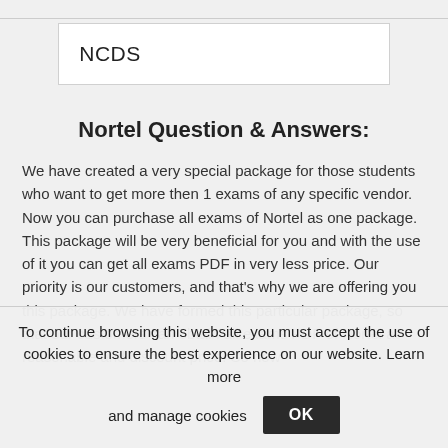NCDS
Nortel Question & Answers:
We have created a very special package for those students who want to get more then 1 exams of any specific vendor. Now you can purchase all exams of Nortel as one package. This package will be very beneficial for you and with the use of it you can get all exams PDF in very less price. Our priority is our customers, and that's why we are offering you this package. We have formed this particular package, so that our customers can obtain all exams PDF of Nortel at reasonable and discount price. So now
To continue browsing this website, you must accept the use of cookies to ensure the best experience on our website. Learn more and manage cookies